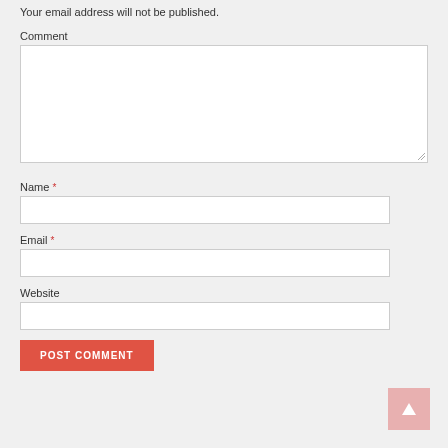Your email address will not be published.
Comment
Name *
Email *
Website
POST COMMENT